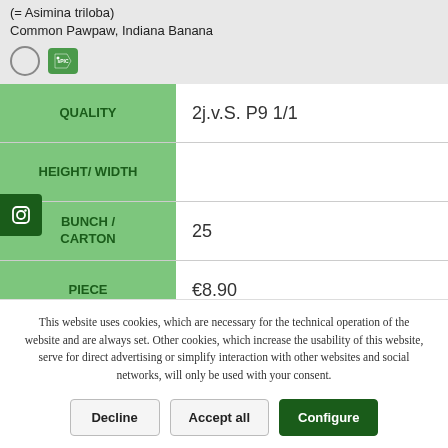(= Asimina triloba)
Common Pawpaw, Indiana Banana
| Label | Value |
| --- | --- |
| QUALITY | 2j.v.S. P9 1/1 |
| HEIGHT / WIDTH |  |
| BUNCH / CARTON | 25 |
| PIECE | €8.90 |
This website uses cookies, which are necessary for the technical operation of the website and are always set. Other cookies, which increase the usability of this website, serve for direct advertising or simplify interaction with other websites and social networks, will only be used with your consent.
Decline | Accept all | Configure